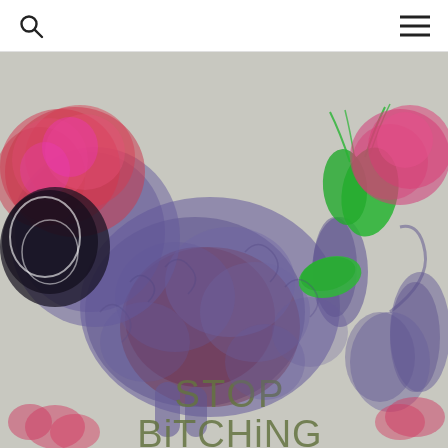[search icon] [menu icon]
[Figure (illustration): Digital drawing of a stylized poodle dog in purple/violet tones with colorful fluffy fur pom-poms in pink and red on its head and paws, wearing a bright green collar and bow. The dog is shown in profile facing left. Text at the bottom reads 'STOP BITCHING' in olive/dark green handwritten-style letters on a light gray background.]